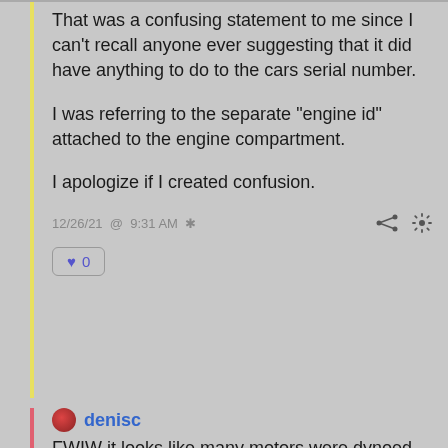That was a confusing statement to me since I can't recall anyone ever suggesting that it did have anything to do to the cars serial number.

I was referring to the separate "engine id" attached to the engine compartment.

I apologize if I created confusion.
12/26/21 @ 9:31 AM
♥ 0
denisc
FWIW it looks like many motors were dynoed before they were put in the cars . This vendor has